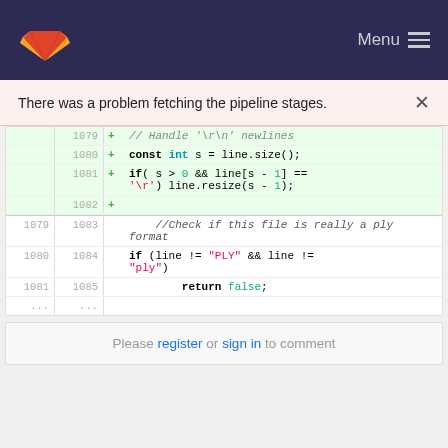[Figure (screenshot): GitLab navigation bar with logo and Menu button]
There was a problem fetching the pipeline stages.
[Figure (screenshot): Code diff showing lines 1079-1085 with added lines for handling newlines and PLY format check]
Please register or sign in to comment